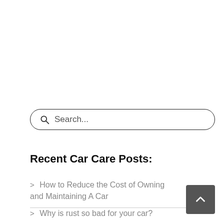[Figure (other): Search bar with magnifying glass icon and placeholder text 'Search...']
Recent Car Care Posts:
> How to Reduce the Cost of Owning and Maintaining A Car
> Why is rust so bad for your car?